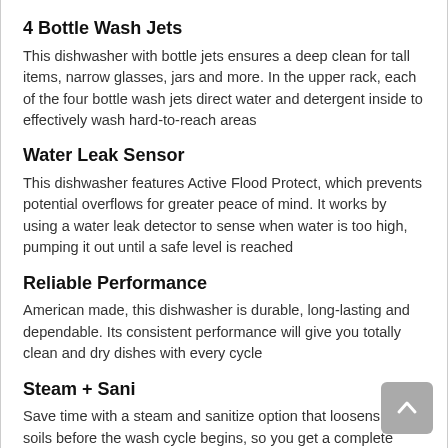4 Bottle Wash Jets
This dishwasher with bottle jets ensures a deep clean for tall items, narrow glasses, jars and more. In the upper rack, each of the four bottle wash jets direct water and detergent inside to effectively wash hard-to-reach areas
Water Leak Sensor
This dishwasher features Active Flood Protect, which prevents potential overflows for greater peace of mind. It works by using a water leak detector to sense when water is too high, pumping it out until a safe level is reached
Reliable Performance
American made, this dishwasher is durable, long-lasting and dependable. Its consistent performance will give you totally clean and dry dishes with every cycle
Steam + Sani
Save time with a steam and sanitize option that loosens tough soils before the wash cycle begins, so you get a complete wash with no pre-rinsing or soaking necessary. Plus, a sanitization cycle reduces 99.999% of bacteria on dishes